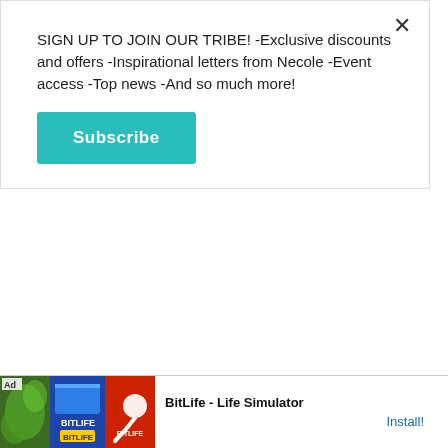SIGN UP TO JOIN OUR TRIBE! -Exclusive discounts and offers -Inspirational letters from Necole -Event access -Top news -And so much more!
Subscribe
my flight this time–which for my ladies who have been involved with an Uncommitted Chad, you are familiar with this mind game. I had decided that people mess up all the time and given that I'm a therapist by trade, who am I to believe people can't change?
So, I went
[Figure (screenshot): BitLife - Life Simulator app advertisement banner at the bottom of the page, showing colorful game imagery on the left and 'BitLife - Life Simulator' text with 'Install!' button on the right.]